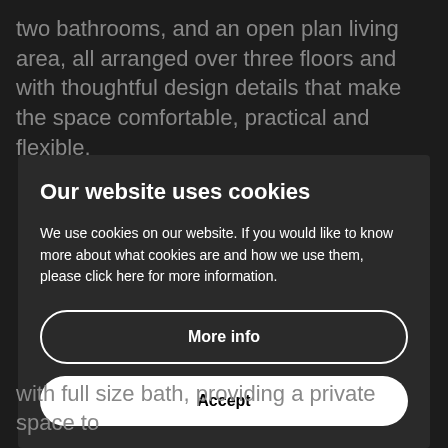two bathrooms, and an open plan living area, all arranged over three floors and with thoughtful design details that make the space comfortable, practical and flexible.
Our website uses cookies
We use cookies on our website. If you would like to know more about what cookies are and how we use them, please click here for more information.
More info
Accept
with full size bath, providing a private space to